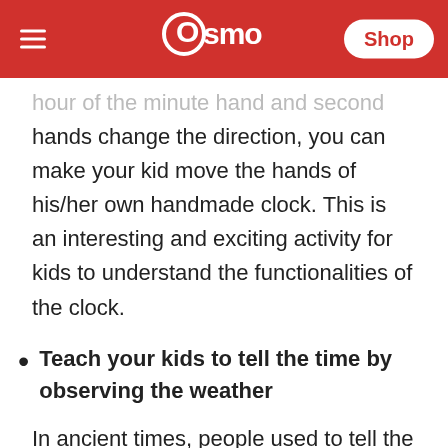Osmo | Shop
hour of the minute hand and second hands change the direction, you can make your kid move the hands of his/her own handmade clock. This is an interesting and exciting activity for kids to understand the functionalities of the clock.
Teach your kids to tell the time by observing the weather
In ancient times, people used to tell the time without any help from the clock. As surprising as it may sound, this was possible just by observing the position and direction of the…